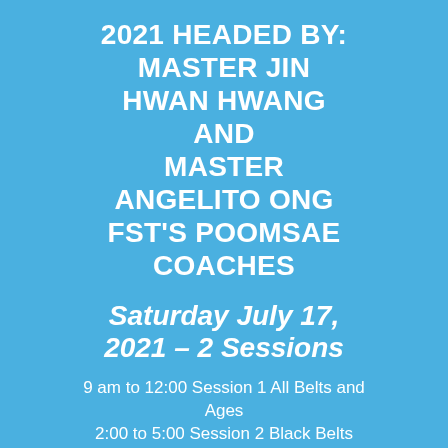2021 HEADED BY: MASTER JIN HWAN HWANG AND MASTER ANGELITO ONG FST'S POOMSAE COACHES
Saturday July 17, 2021 – 2 Sessions
9 am to 12:00 Session 1 All Belts and Ages
2:00 to 5:00 Session 2 Black Belts